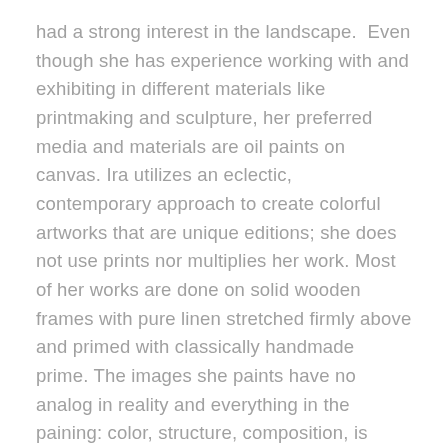had a strong interest in the landscape.  Even though she has experience working with and exhibiting in different materials like printmaking and sculpture, her preferred media and materials are oil paints on canvas. Ira utilizes an eclectic, contemporary approach to create colorful artworks that are unique editions; she does not use prints nor multiplies her work. Most of her works are done on solid wooden frames with pure linen stretched firmly above and primed with classically handmade prime. The images she paints have no analog in reality and everything in the paining: color, structure, composition, is sourced in her imagination.
She maintains the view that an artwork is a metaphor and everything in a painting is language: the color talks, the shape talks and the different elements in the painting communicate among themselves. The whole painting communicates a non-verbal message that is transmitted to the perceiver. Painting is a way